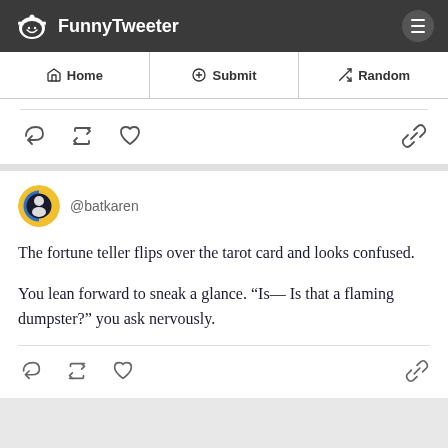FunnyTweeter
Home
Submit
Random
[Figure (screenshot): Partial tweet card showing action icons: reply, retweet, like, link]
@batkaren

The fortune teller flips over the tarot card and looks confused.

You lean forward to sneak a glance. “Is— Is that a flaming dumpster?” you ask nervously.